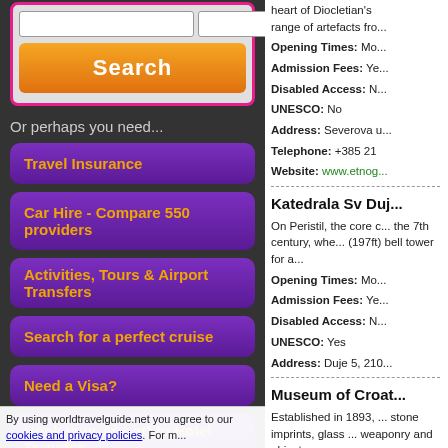[Figure (screenshot): Search box with pink border, three input fields, and orange Search button]
Or perhaps you need...
Travel Insurance
Car Hire - Compare 550 providers
Activities, Tours & Airport Transfers
Search for a perfect cruise
Need a Visa?
Book your Airport to Hotel Transfer
By using worldtravelguide.net you agree to our cookies and privacy policies. For m...
heart of Diocletian's range of artefacts fro...
Opening Times: Mo... Admission Fees: Ye... Disabled Access: N... UNESCO: No Address: Severova u... Telephone: +385 21 Website: www.etnog...
Katedrala Sv Duj...
On Peristil, the core c... the 7th century, whe... (197ft) bell tower for a...
Opening Times: Mo... Admission Fees: Ye... Disabled Access: N... UNESCO: Yes Address: Duje 5, 210...
Museum of Croat...
Established in 1893, ... stone imprints, glass ... weaponry and objects...
Opening Times: M... Admission Fees: Ye...